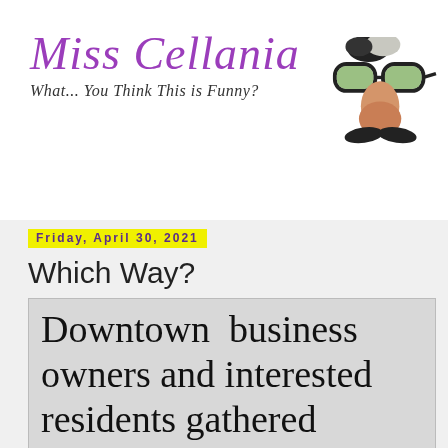[Figure (logo): Miss Cellania blog logo with purple decorative text reading 'Miss Cellania', italic subtitle 'What... You Think This is Funny?' and a Groucho Marx disguise face (glasses, nose, mustache) on the right]
Friday, April 30, 2021
Which Way?
[Figure (photo): Newspaper clipping showing large serif text: 'Downtown business owners and interested residents gathered Thursday to hear more about the $4 million Phase 2 of down' (text cut off)]